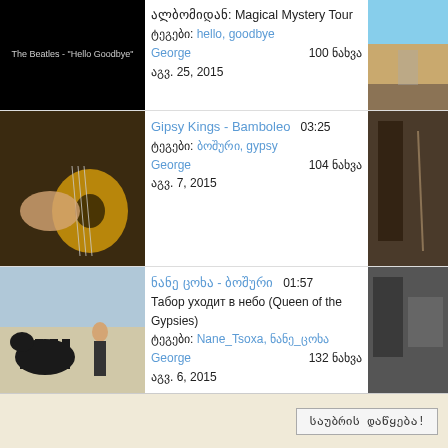[Figure (screenshot): Thumbnail image of The Beatles Hello Goodbye video - black background with white text]
ალბომიდან: Magical Mystery Tour
ტეგები: hello, goodbye
George 100 ნახვა
აგვ. 25, 2015
[Figure (photo): Desert road with red rock landscape thumbnail on right]
[Figure (photo): Guitar close-up photo - hands on classical guitar]
Gipsy Kings - Bamboleo 03:25
ტეგები: ბოშური, gypsy
George 104 ნახვა
აგვ. 7, 2015
[Figure (photo): Interior scene with violin player thumbnail on right]
[Figure (photo): Man with horse photo]
ნანე ცოხა - ბოშური 01:57
Табор уходит в небо (Queen of the Gypsies)
ტეგები: Nane_Tsoxa, ნანე_ცოხა
George 132 ნახვა
აგვ. 6, 2015
[Figure (photo): Dark room interior thumbnail on right]
‹ წინა  1  2  3  ...  11  შემდეგი ›
[Figure (illustration): RSS feed icon (orange square with white radio waves)]
საუბრის დაწყება!